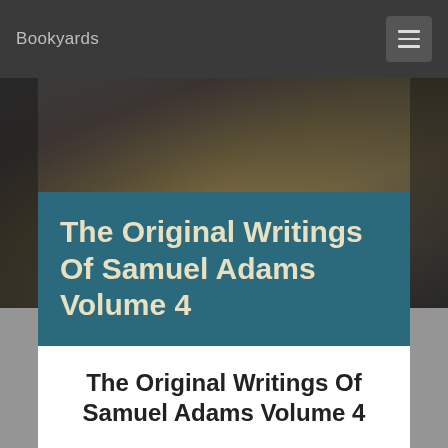Bookyards
[Figure (photo): Dark blurred background photo of a bookshelf or books, with warm brown and golden tones, partially obscured by shadow and blur.]
The Original Writings Of Samuel Adams Volume 4
The Original Writings Of Samuel Adams Volume 4